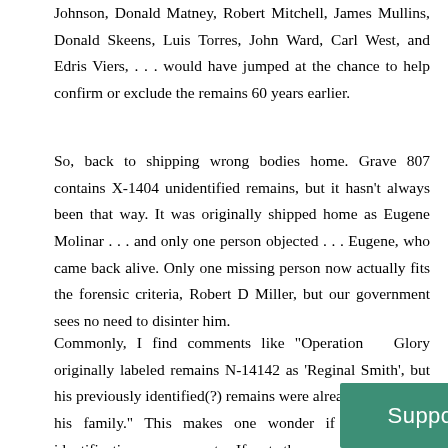Johnson, Donald Matney, Robert Mitchell, James Mullins, Donald Skeens, Luis Torres, John Ward, Carl West, and Edris Viers, . . . would have jumped at the chance to help confirm or exclude the remains 60 years earlier.
So, back to shipping wrong bodies home. Grave 807 contains X-1404 unidentified remains, but it hasn’t always been that way. It was originally shipped home as Eugene Molinar . . . and only one person objected . . . Eugene, who came back alive. Only one missing person now actually fits the forensic criteria, Robert D Miller, but our government sees no need to disinter him.
Commonly, I find comments like “Operation  Glory originally labeled remains N-14142 as ‘Reginal Smith’, but his previously identified(?) remains were already returned to his family.” This makes one wonder if the previous identification was accurate. If not, the cemetery is full of mistakes.  At least 28 re…it.
[Figure (other): Green banner button with white text reading 'Support Us']